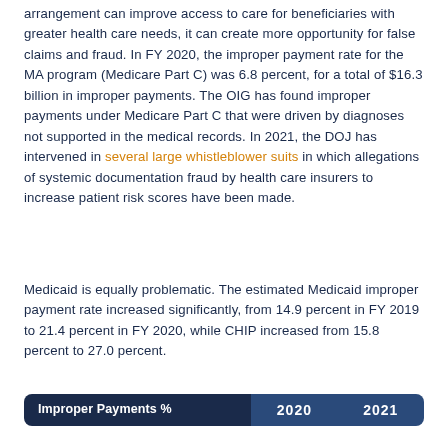arrangement can improve access to care for beneficiaries with greater health care needs, it can create more opportunity for false claims and fraud. In FY 2020, the improper payment rate for the MA program (Medicare Part C) was 6.8 percent, for a total of $16.3 billion in improper payments. The OIG has found improper payments under Medicare Part C that were driven by diagnoses not supported in the medical records. In 2021, the DOJ has intervened in several large whistleblower suits in which allegations of systemic documentation fraud by health care insurers to increase patient risk scores have been made.
Medicaid is equally problematic. The estimated Medicaid improper payment rate increased significantly, from 14.9 percent in FY 2019 to 21.4 percent in FY 2020, while CHIP increased from 15.8 percent to 27.0 percent.
| Improper Payments % | 2020 | 2021 |
| --- | --- | --- |